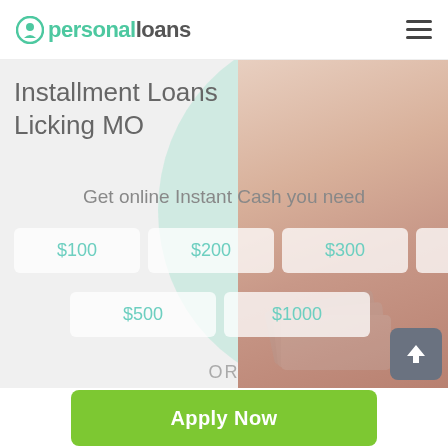personalloans
Installment Loans Licking MO
Get online Instant Cash you need
$100
$200
$300
$400
$500
$1000
OR
Apply Now
Applying does NOT affect your credit score!
No credit check to apply.